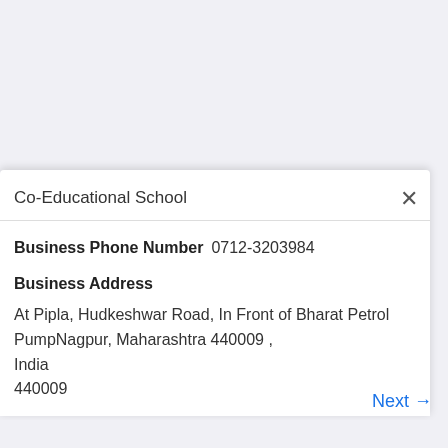Co-Educational School
Business Phone Number  0712-3203984
Business Address
At Pipla, Hudkeshwar Road, In Front of Bharat Petrol PumpNagpur, Maharashtra 440009 , India
440009
Next →